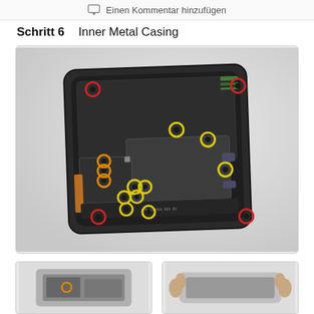Einen Kommentar hinzufügen
Schritt 6    Inner Metal Casing
[Figure (photo): iPad inner metal casing disassembly photo showing the device internals with colored circle markers indicating screw locations: red circles at four corners, yellow circles at various screw positions across the board, and orange circles on the left side near a connector.]
[Figure (photo): Thumbnail image 1: close-up of iPad internal components]
[Figure (photo): Thumbnail image 2: hands holding iPad during repair]